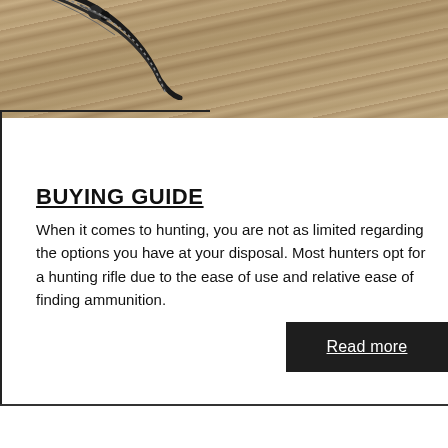[Figure (photo): A hunting bow resting on wooden planks, viewed from above at an angle. Dark compound bow with accessories visible on weathered wood surface.]
BUYING GUIDE
When it comes to hunting, you are not as limited regarding the options you have at your disposal. Most hunters opt for a hunting rifle due to the ease of use and relative ease of finding ammunition.
Read more